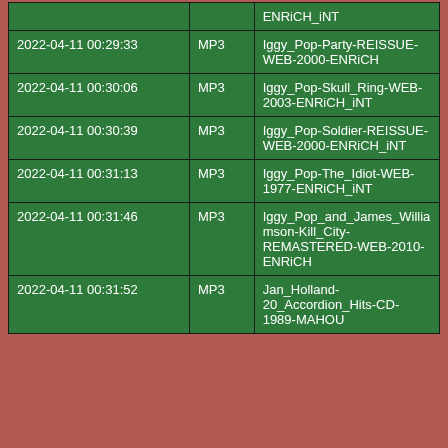| Date/Time | Format | Name |
| --- | --- | --- |
|  |  | ENRiCH_iNT |
| 2022-04-11 00:29:33 | MP3 | Iggy_Pop-Party-REISSUE-WEB-2000-ENRiCH |
| 2022-04-11 00:30:06 | MP3 | Iggy_Pop-Skull_Ring-WEB-2003-ENRiCH_iNT |
| 2022-04-11 00:30:39 | MP3 | Iggy_Pop-Soldier-REISSUE-WEB-2000-ENRiCH_iNT |
| 2022-04-11 00:31:13 | MP3 | Iggy_Pop-The_Idiot-WEB-1977-ENRiCH_iNT |
| 2022-04-11 00:31:46 | MP3 | Iggy_Pop_and_James_Williamson-Kill_City-REMASTERED-WEB-2010-ENRiCH |
| 2022-04-11 00:31:52 | MP3 | Jan_Holland-20_Accordion_Hits-CD-1989-MAHOU |